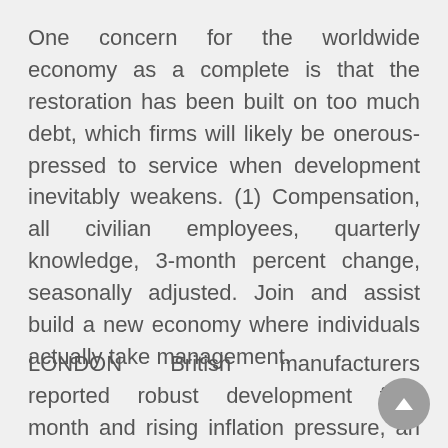One concern for the worldwide economy as a complete is that the restoration has been built on too much debt, which firms will likely be onerous-pressed to service when development inevitably weakens. (1) Compensation, all civilian employees, quarterly knowledge, 3-month percent change, seasonally adjusted. Join and assist build a new economy where individuals actually take management.
LONDON British manufacturers reported robust development final month and rising inflation pressure, an industry survey